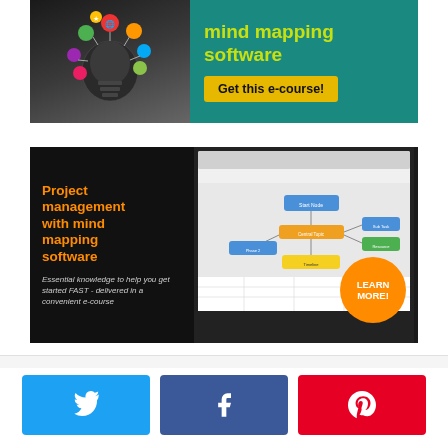[Figure (illustration): Advertisement banner for mind mapping software e-course. Left side shows a colorful lightbulb illustration with network/mind map icons. Right side has teal background with yellow text 'mind mapping software' and a button 'Get this e-course!']
[Figure (illustration): Advertisement banner for project management with mind mapping software e-course. Black background with orange title text 'Project management with mind mapping software', white italic description 'Essential knowledge to help you get started FAST - delivered in a convenient e-course', a screenshot of mind mapping software, and an orange circular button 'LEARN MORE!']
[Figure (infographic): Three social sharing buttons: Twitter (blue with bird icon), Facebook (dark blue with f icon), Pinterest (red with P icon)]